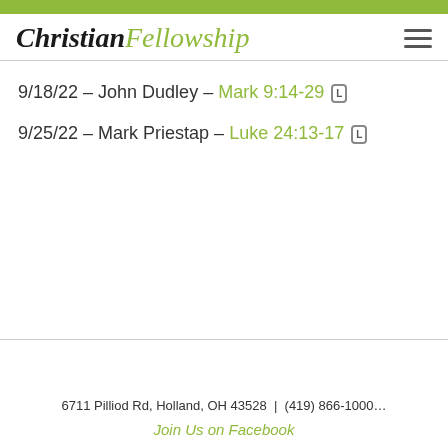[Figure (logo): Christian Fellowship church logo in script/italic font, 'Christian' in dark color, 'Fellowship' in green]
9/18/22 – John Dudley – Mark 9:14-29
9/25/22 – Mark Priestap – Luke 24:13-17
6711 Pilliod Rd, Holland, OH 43528  |  (419) 866-1000
Join Us on Facebook